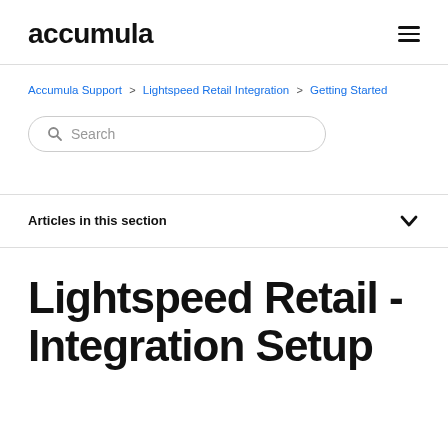accumula
Accumula Support > Lightspeed Retail Integration > Getting Started
Search
Articles in this section
Lightspeed Retail - Integration Setup